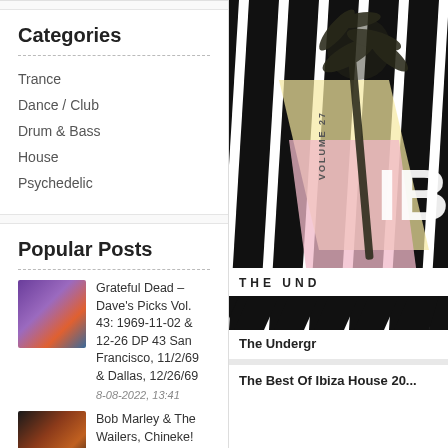Categories
Trance
Dance / Club
Drum & Bass
House
Psychedelic
Popular Posts
Grateful Dead – Dave's Picks Vol. 43: 1969-11-02 & 12-26 DP 43 San Francisco, 11/2/69 & Dallas, 12/26/69
8-08-2022, 13:41
Bob Marley & The Wailers, Chineke! Orchestra – Bob Marley with the Chineke! Orchestra
[Figure (other): Album cover art for Ibiza Underground Vol. 27 with diagonal black and white stripes, palm tree silhouette, and pastel pink/yellow color accents]
The Underground...
The Best Of Ibiza House 20...